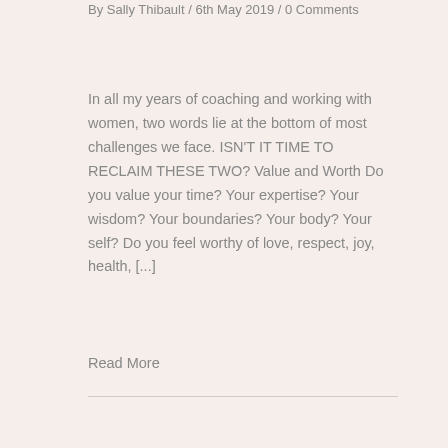By Sally Thibault / 6th May 2019 / 0 Comments
In all my years of coaching and working with women, two words lie at the bottom of most challenges we face. ISN'T IT TIME TO RECLAIM THESE TWO? Value and Worth Do you value your time? Your expertise? Your wisdom? Your boundaries? Your body? Your self? Do you feel worthy of love, respect, joy, health, [...]
Read More